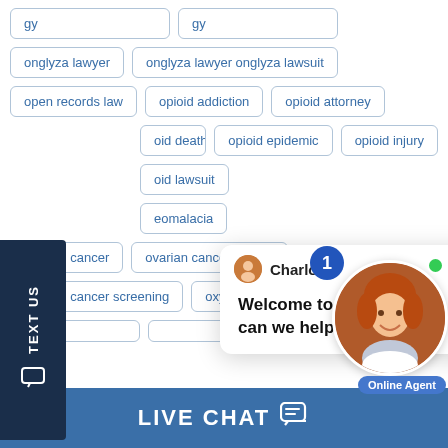onglyza lawyer
onglyza lawyer onglyza lawsuit
open records law
opioid addiction
opioid attorney
opioid death
opioid epidemic
opioid injury
opioid lawsuit
eomalacia
ovarian cancer
ovarian cancer lawsuit
ovarian cancer screening
oxycontin death
TEXT US
Charlotte
Welcome to Borgess Law, LLC! How can we help you?
Online Agent
LIVE CHAT